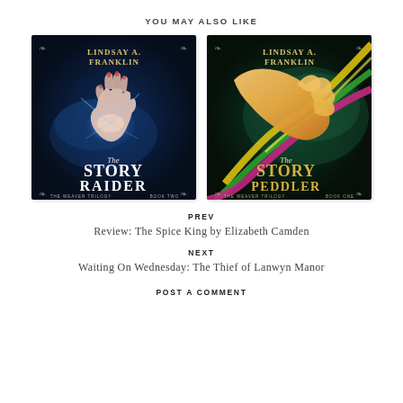YOU MAY ALSO LIKE
[Figure (photo): Book cover: The Story Raider by Lindsay A. Franklin. Dark blue background with a glowing white hand. Text reads 'The Story Raider, The Weaver Trilogy Book Two'.]
[Figure (photo): Book cover: The Story Peddler by Lindsay A. Franklin. Dark teal background with a hand grasping colorful ribbons (yellow, green, pink). Text reads 'The Story Peddler, The Weaver Trilogy Book One'.]
PREV
Review: The Spice King by Elizabeth Camden
NEXT
Waiting On Wednesday: The Thief of Lanwyn Manor
POST A COMMENT